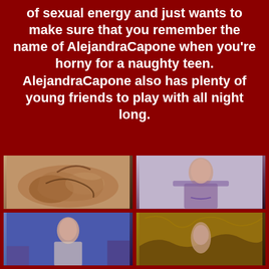of sexual energy and just wants to make sure that you remember the name of AlejandraCapone when you're horny for a naughty teen. AlejandraCapone also has plenty of young friends to play with all night long.
[Figure (photo): Grid of four photos showing young women in various poses]